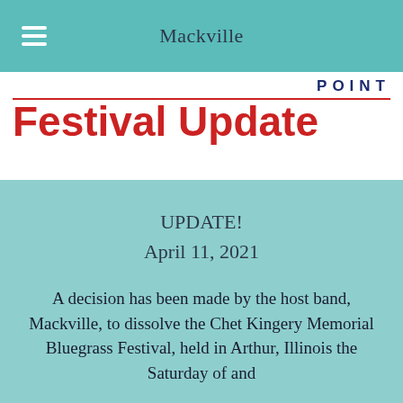Mackville
[Figure (illustration): Banner image with bold red text 'Festival Update' on white background, with partial dark blue text above it]
UPDATE!
April 11, 2021
A decision has been made by the host band, Mackville, to dissolve the Chet Kingery Memorial Bluegrass Festival, held in Arthur, Illinois the Saturday of and